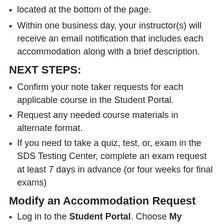located at the bottom of the page.
Within one business day, your instructor(s) will receive an email notification that includes each accommodation along with a brief description.
NEXT STEPS:
Confirm your note taker requests for each applicable course in the Student Portal.
Request any needed course materials in alternate format.
If you need to take a quiz, test, or, exam in the SDS Testing Center, complete an exam request at least 7 days in advance (or four weeks for final exams)
Modify an Accommodation Request
Log in to the Student Portal. Choose My Dashboard from the menu on the left side of the